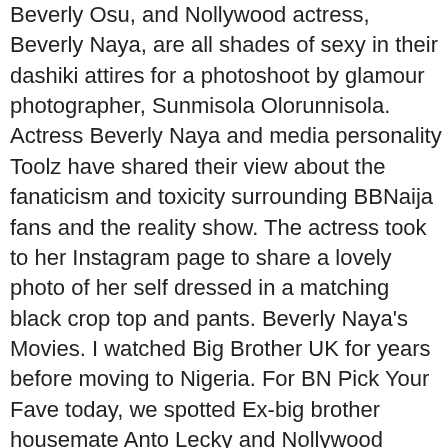Beverly Osu, and Nollywood actress, Beverly Naya, are all shades of sexy in their dashiki attires for a photoshoot by glamour photographer, Sunmisola Olorunnisola. Actress Beverly Naya and media personality Toolz have shared their view about the fanaticism and toxicity surrounding BBNaija fans and the reality show. The actress took to her Instagram page to share a lovely photo of her self dressed in a matching black crop top and pants. Beverly Naya's Movies. I watched Big Brother UK for years before moving to Nigeria. For BN Pick Your Fave today, we spotted Ex-big brother housemate Anto Lecky and Nollywood actress Beverly Naya rocking the same number by Nigerian womenswear label, 2207. Entreprise de télécommunications. Actress, Beverly Naya, has reacted to the attachment Nigerian youths put to watching Big Brother Naija. Beverly in her tweet, noted that she watched Big Brother UK for years before moving to Nigeria. How people watch it here just isn't a thing anywhere else. Kudos to Beverly Naya, her cast and team for putting together such amazing work. Actress Beverly Iynaya. She is an open-minded individual, who never